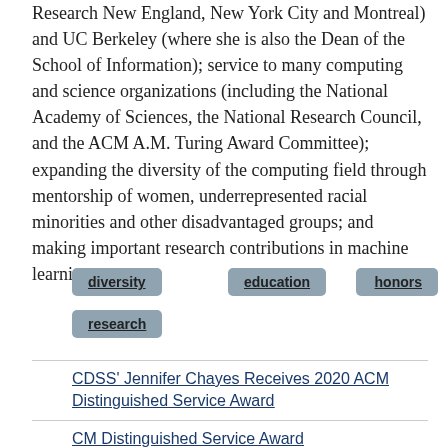Research New England, New York City and Montreal) and UC Berkeley (where she is also the Dean of the School of Information); service to many computing and science organizations (including the National Academy of Sciences, the National Research Council, and the ACM A.M. Turing Award Committee); expanding the diversity of the computing field through mentorship of women, underrepresented racial minorities and other disadvantaged groups; and making important research contributions in machine learning.
diversity
education
faculty
honors
research
CDSS' Jennifer Chayes Receives 2020 ACM Distinguished Service Award
CM Distinguished Service Award